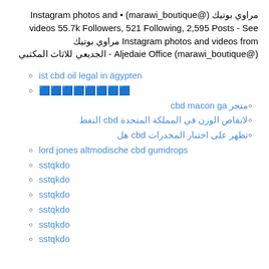مراوي بوتيك (@marawi_boutique) • Instagram photos and videos 55.7k Followers, 521 Following, 2,595 Posts - See Instagram photos and videos from مراوي بوتيك (@marawi_boutique) Aljedaie Office - الجديعي للاثاث المكتبي
ist cbd oil legal in ägypten
🟦🟦🟦🟦🟦🟦🟦🟦
متجر cbd macon ga
لانقاص الوزن في المملكة المتحدة cbd النفط
تظهر على اختبار المخدرات cbd هل
lord jones altmodische cbd gumdrops
sstqkdo
sstqkdo
sstqkdo
sstqkdo
sstqkdo
sstqkdo